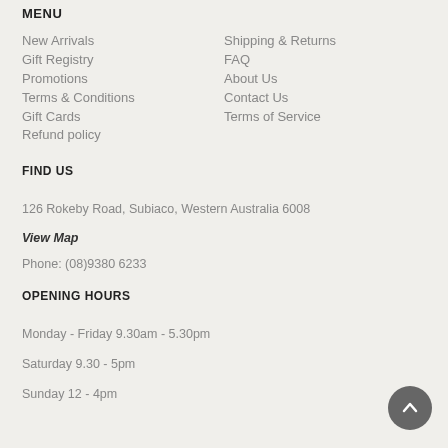MENU
New Arrivals
Gift Registry
Promotions
Terms & Conditions
Gift Cards
Refund policy
Shipping & Returns
FAQ
About Us
Contact Us
Terms of Service
FIND US
126 Rokeby Road, Subiaco, Western Australia 6008
View Map
Phone: (08)9380 6233
OPENING HOURS
Monday - Friday 9.30am - 5.30pm
Saturday 9.30 - 5pm
Sunday 12 - 4pm